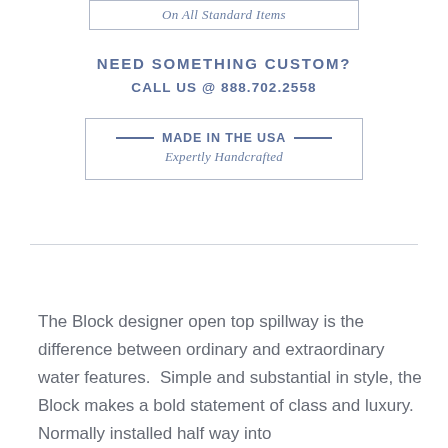On All Standard Items
NEED SOMETHING CUSTOM?
CALL US @ 888.702.2558
MADE IN THE USA — Expertly Handcrafted
The Block designer open top spillway is the difference between ordinary and extraordinary water features.  Simple and substantial in style, the Block makes a bold statement of class and luxury.  Normally installed half way into